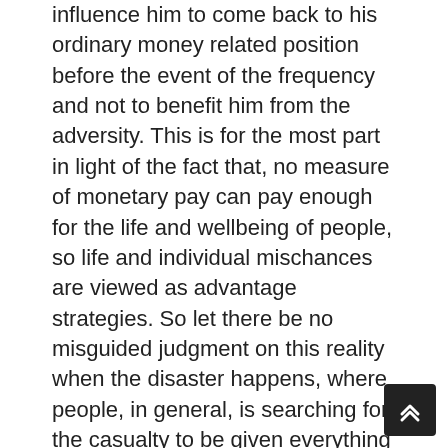influence him to come back to his ordinary money related position before the event of the frequency and not to benefit him from the adversity. This is for the most part in light of the fact that, no measure of monetary pay can pay enough for the life and wellbeing of people, so life and individual mischances are viewed as advantage strategies. So let there be no misguided judgment on this reality when the disaster happens, where people, in general, is searching for the casualty to be given everything lost and having a small remuneration given to him or her. So we should not doubt insurance agencies here, realizing that it's just the rebuilding to the correct position before the misfortune that is given.
Presently, as we have gone so far in understanding the elements of the insurance agencies, the parts of the guaranteed and the safety net provider, we will continue forward to take a gander at the different